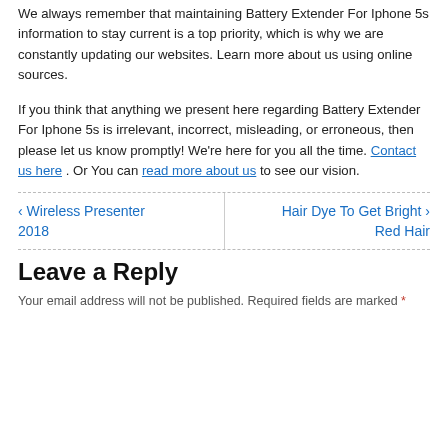We always remember that maintaining Battery Extender For Iphone 5s information to stay current is a top priority, which is why we are constantly updating our websites. Learn more about us using online sources.
If you think that anything we present here regarding Battery Extender For Iphone 5s is irrelevant, incorrect, misleading, or erroneous, then please let us know promptly! We're here for you all the time. Contact us here . Or You can read more about us to see our vision.
< Wireless Presenter 2018
Hair Dye To Get Bright Red Hair >
Leave a Reply
Your email address will not be published. Required fields are marked *